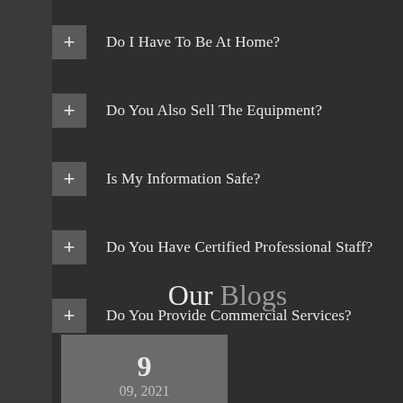+ Do I Have To Be At Home?
+ Do You Also Sell The Equipment?
+ Is My Information Safe?
+ Do You Have Certified Professional Staff?
+ Do You Provide Commercial Services?
Our Blogs
9
09, 2021
[Figure (illustration): Pen/pencil icon in a dark gray box]